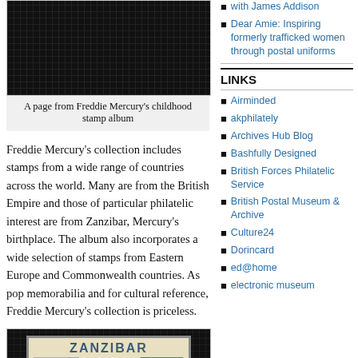[Figure (photo): A dark stamp album page shown against a black gridded background]
A page from Freddie Mercury’s childhood stamp album
Freddie Mercury’s collection includes stamps from a wide range of countries across the world. Many are from the British Empire and those of particular philatelic interest are from Zanzibar, Mercury’s birthplace. The album also incorporates a wide selection of stamps from Eastern Europe and Commonwealth countries. As pop memorabilia and for cultural reference, Freddie Mercury’s collection is priceless.
[Figure (photo): A Zanzibar postage stamp showing the word ZANZIBAR and a figure, on a dark gridded background]
with James Addison
Dear Amie: Inspiring formerly trafficked women through postal uniforms
LINKS
Airminded
akphilately
Archives Hub Blog
Bashfully Designed
British Forces Philatelic Service
British Postal Museum & Archive
Culture24
Dorincard
ed@home
electronic museum